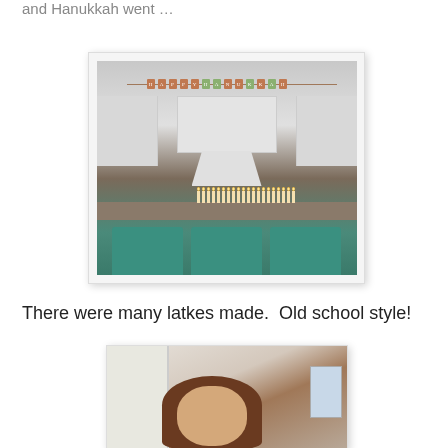and Hanukkah went …
[Figure (photo): Kitchen scene with menorahs and candles lit on a dark countertop, teal bar stools in front, white cabinets and hood in the background, a Happy Hanukkah banner strung across the top.]
There were many latkes made.  Old school style!
[Figure (photo): A person with brown hair standing in a doorway or hallway, partial face visible, white door or wall to the left, window visible in the background on the right.]